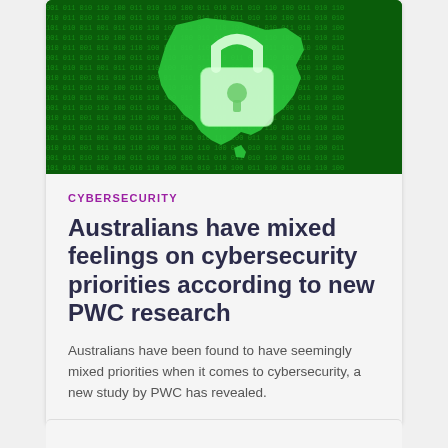[Figure (illustration): Cybersecurity themed banner image showing a padlock icon overlaid on Australia map silhouette against a dark green digital binary code background]
CYBERSECURITY
Australians have mixed feelings on cybersecurity priorities according to new PWC research
Australians have been found to have seemingly mixed priorities when it comes to cybersecurity, a new study by PWC has revealed.